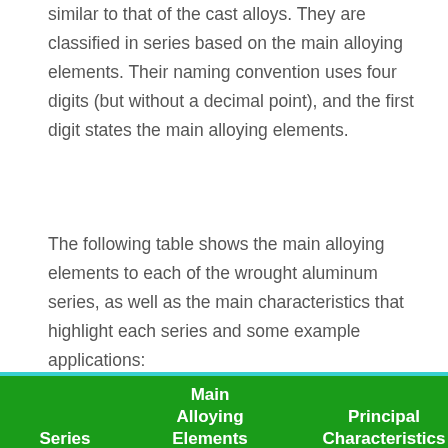similar to that of the cast alloys. They are classified in series based on the main alloying elements. Their naming convention uses four digits (but without a decimal point), and the first digit states the main alloying elements.
The following table shows the main alloying elements to each of the wrought aluminum series, as well as the main characteristics that highlight each series and some example applications:
| Series | Main Alloying Elements | Principal Characteristics | Example applications |
| --- | --- | --- | --- |